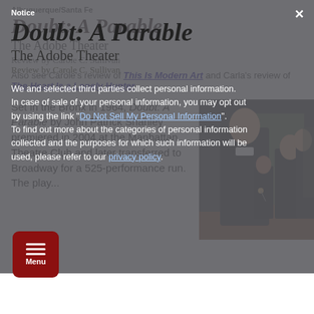Notice
We and selected third parties collect personal information. In case of sale of your personal information, you may opt out by using the link "Do Not Sell My Personal Information". To find out more about the categories of personal information collected and the purposes for which such information will be used, please refer to our privacy policy.
Doubt: A Parable
The Adobe Theater
Review by Carole C. Sullivan
Also see Carole's review of This Is Modern Art and Carla's review of The Heart Is a Lonely Hunter
Set in the Bronx in 1964, Doubt: A Parable by John Patrick Shanley premiered in 2004 at the Manhattan Theatre Club and later transferred to Broadway for a 525-performance run. The play...
[Figure (photo): Theater production photo showing actors in black religious attire on stage, including a priest in foreground and nuns in background]